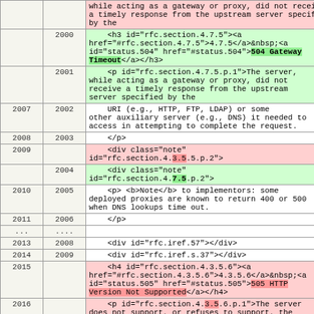| col1 | col2 | content |
| --- | --- | --- |
|  |  | while acting as a gateway or proxy, did not receive a timely response from the upstream server specified by the |
|  | 2000 | <h3 id="rfc.section.4.7.5"><a href="#rfc.section.4.7.5">4.7.5</a>&nbsp;<a id="status.504" href="#status.504">504 Gateway Timeout</a></h3> |
|  | 2001 | <p id="rfc.section.4.7.5.p.1">The server, while acting as a gateway or proxy, did not receive a timely response from the upstream server specified by the |
| 2007 | 2002 | URI (e.g., HTTP, FTP, LDAP) or some other auxiliary server (e.g., DNS) it needed to access in attempting to complete the request. |
| 2008 | 2003 | </p> |
| 2009 |  | <div class="note" id="rfc.section.4.3.5.5.p.2"> |
|  | 2004 | <div class="note" id="rfc.section.4.7.5.p.2"> |
| 2010 | 2005 | <p> <b>Note</b> to implementors: some deployed proxies are known to return 400 or 500 when DNS lookups time out. |
| 2011 | 2006 | </p> |
| .... | .... |  |
| 2013 | 2008 | <div id="rfc.iref.57"></div> |
| 2014 | 2009 | <div id="rfc.iref.s.37"></div> |
| 2015 |  | <h4 id="rfc.section.4.3.5.6"><a href="#rfc.section.4.3.5.6">4.3.5.6</a>&nbsp;<a id="status.505" href="#status.505">505 HTTP Version Not Supported</a></h4> |
| 2016 |  | <p id="rfc.section.4.3.5.6.p.1">The server does not support, or refuses to support, the protocol version that was used in the request message. The server |
|  | 2010 | <h3 id="rfc.section.4.7.6"><a |